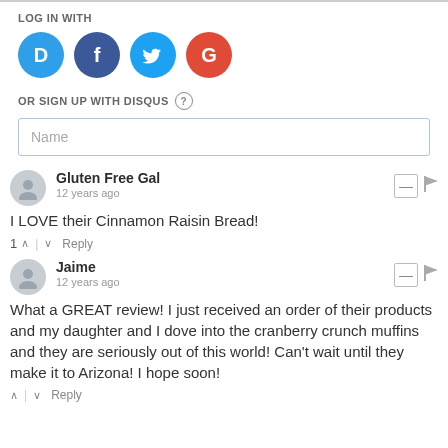LOG IN WITH
[Figure (logo): Social login icons: Disqus (D, blue circle), Facebook (f, dark blue circle), Twitter (bird, light blue circle), Google (G, red circle)]
OR SIGN UP WITH DISQUS ?
Name
Gluten Free Gal
12 years ago
I LOVE their Cinnamon Raisin Bread!
Jaime
12 years ago
What a GREAT review! I just received an order of their products and my daughter and I dove into the cranberry crunch muffins and they are seriously out of this world! Can't wait until they make it to Arizona! I hope soon!